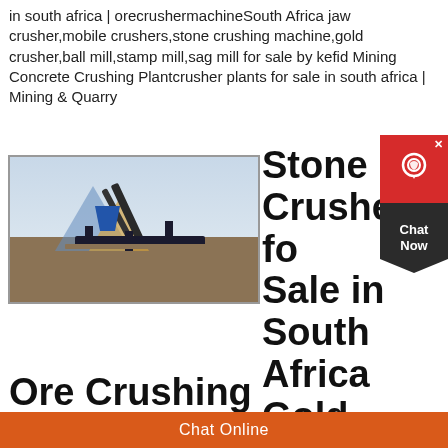in south africa | orecrushermachineSouth Africa jaw crusher,mobile crushers,stone crushing machine,gold crusher,ball mill,stamp mill,sag mill for sale by kefid Mining Concrete Crushing Plantcrusher plants for sale in south africa | Mining & Quarry
[Figure (photo): Stone crusher / mining equipment at an outdoor site with blue sky background. Decorative triangle logo overlaid (blue and orange triangles).]
Stone Crusher for Sale in South Africa Gold Ore Crushing
Marco is a company that serves the heavy industry Our
Chat Online